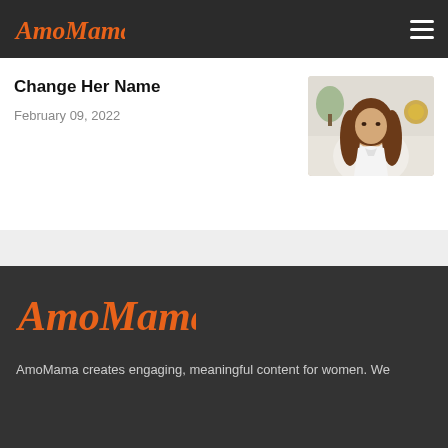AmoMama [logo] | [hamburger menu]
Change Her Name
February 09, 2022
[Figure (photo): Photo of a woman with long brown hair wearing a white blouse, seated indoors with decorative items in the background]
[Figure (logo): AmoMama logo in orange script on dark background]
AmoMama creates engaging, meaningful content for women. We